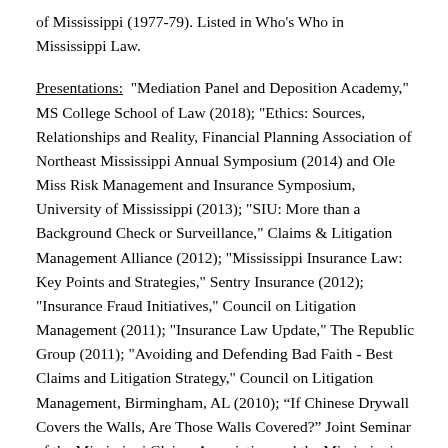of Mississippi (1977-79). Listed in Who's Who in Mississippi Law.
Presentations: "Mediation Panel and Deposition Academy," MS College School of Law (2018); "Ethics: Sources, Relationships and Reality, Financial Planning Association of Northeast Mississippi Annual Symposium (2014) and Ole Miss Risk Management and Insurance Symposium, University of Mississippi (2013); "SIU: More than a Background Check or Surveillance," Claims & Litigation Management Alliance (2012); "Mississippi Insurance Law: Key Points and Strategies," Sentry Insurance (2012); "Insurance Fraud Initiatives," Council on Litigation Management (2011); "Insurance Law Update," The Republic Group (2011); "Avoiding and Defending Bad Faith - Best Claims and Litigation Strategy," Council on Litigation Management, Birmingham, AL (2010); “If Chinese Drywall Covers the Walls, Are Those Walls Covered?” Joint Seminar of the Mississippi Claims Association and the Mississippi Defense Lawyers Association, Flowood, Mississippi (2009); “Fundamentals of Litigation Management and Related Topics,”